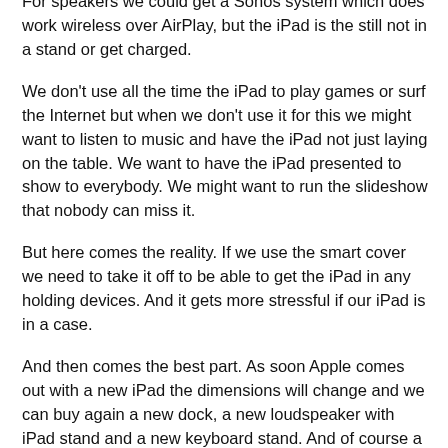For speakers we could get a Sonos system which does work wireless over AirPlay, but the iPad is the still not in a stand or get charged.
We don't use all the time the iPad to play games or surf the Internet but when we don't use it for this we might want to listen to music and have the iPad not just laying on the table. We want to have the iPad presented to show to everybody. We might want to run the slideshow that nobody can miss it.
But here comes the reality. If we use the smart cover we need to take it off to be able to get the iPad in any holding devices. And it gets more stressful if our iPad is in a case.
And then comes the best part. As soon Apple comes out with a new iPad the dimensions will change and we can buy again a new dock, a new loudspeaker with iPad stand and a new keyboard stand. And of course a new case for the iPad. The latter we might not be able to avoid, but the rest?
Wy is nobody, neither Apple taking in consideration that we want to protect out iPad / iPhone and that we don't want to take the protection off from the device just to be able to use